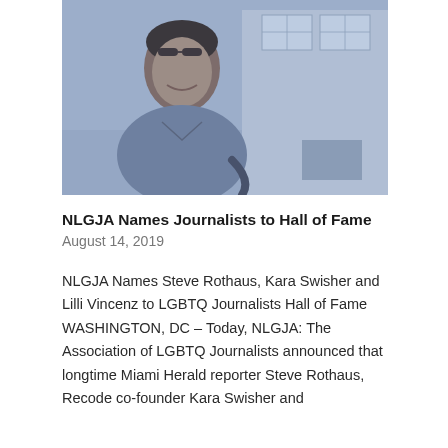[Figure (photo): Black and white photograph with blue tint of a person (appears to be a young person with short dark hair and sunglasses on their head) smiling, standing outside in front of a building.]
NLGJA Names Journalists to Hall of Fame
August 14, 2019
NLGJA Names Steve Rothaus, Kara Swisher and Lilli Vincenz to LGBTQ Journalists Hall of Fame WASHINGTON, DC – Today, NLGJA: The Association of LGBTQ Journalists announced that longtime Miami Herald reporter Steve Rothaus, Recode co-founder Kara Swisher and